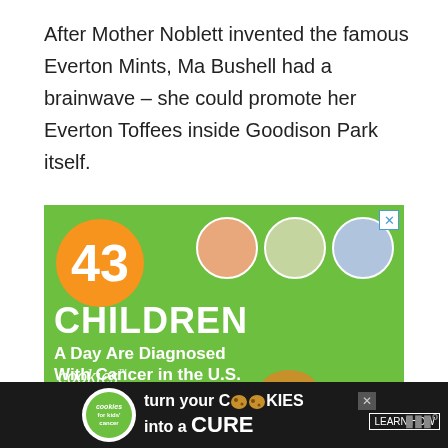After Mother Noblett invented the famous Everton Mints, Ma Bushell had a brainwave – she could promote her Everton Toffees inside Goodison Park itself.
[Figure (infographic): Advertisement: Green background with orange circle showing '43', three circular children's photos, text 'CHILDREN A Day Are Diagnosed With Cancer in the U.S.' and 'cookies for kids cancer Let's Get' branding]
[Figure (infographic): Bottom banner advertisement: 'cookies for kids cancer' logo with text 'turn your COOKIES into a CURE LEARN HOW' on dark background]